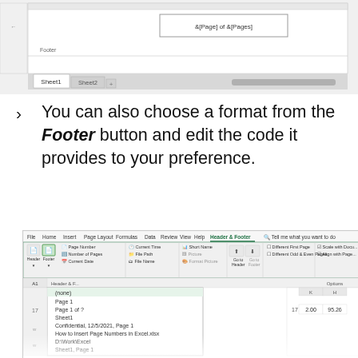[Figure (screenshot): Excel spreadsheet showing footer area with '&[Page] of &[Pages]' code in center footer section, Sheet1 and Sheet2 tabs visible at bottom]
You can also choose a format from the Footer button and edit the code it provides to your preference.
[Figure (screenshot): Excel Header & Footer tab in ribbon showing Footer dropdown menu open with options: (none), Page 1, Page 1 of ?, Sheet1, Confidential 12/5/2021 Page 1, How to Insert Page Numbers in Excel.xlsx, D:\Work\Excel, Sheet1 Page 1, Sheet1 Confidential Page 1, How to Insert Page Numbers in Excel.xlsx Page 1, D:\Work\Excel, Page 1 Sheet1]